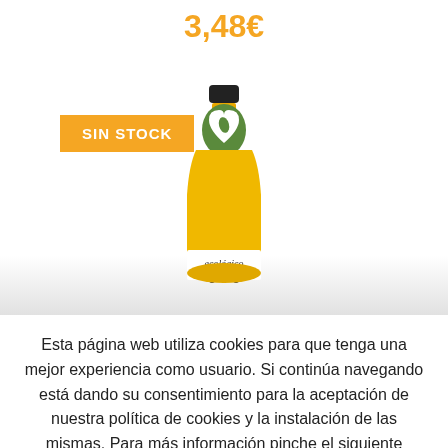3,48€
[Figure (photo): A small yellow glass juice bottle with a dark cap and a green heart-shaped eco label reading 'ecológico'. An orange 'SIN STOCK' badge overlays the left side of the bottle.]
Esta página web utiliza cookies para que tenga una mejor experiencia como usuario. Si continúa navegando está dando su consentimiento para la aceptación de nuestra política de cookies y la instalación de las mismas. Para más información pinche el siguiente enlace
Más info
Aceptar